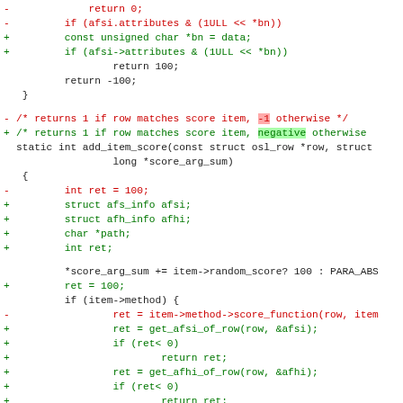[Figure (screenshot): A code diff showing changes to C source code. Red lines (prefixed with -) show removed code and green lines (prefixed with +) show added code. The diff includes function changes for add_item_score, showing variable declarations and control flow modifications.]